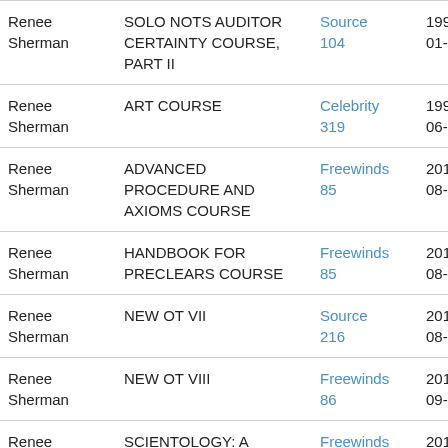| Name | Course | Source | Date |
| --- | --- | --- | --- |
| Renee Sherman | SOLO NOTS AUDITOR CERTAINTY COURSE, PART II | Source 104 | 1997-01-01 |
| Renee Sherman | ART COURSE | Celebrity 319 | 1999-06-01 |
| Renee Sherman | ADVANCED PROCEDURE AND AXIOMS COURSE | Freewinds 85 | 2011-08-01 |
| Renee Sherman | HANDBOOK FOR PRECLEARS COURSE | Freewinds 85 | 2011-08-01 |
| Renee Sherman | NEW OT VII | Source 216 | 2011-08-01 |
| Renee Sherman | NEW OT VIII | Freewinds 86 | 2011-09-01 |
| Renee Sherman | SCIENTOLOGY: A HISTORY OF MAN COURSE | Freewinds 86 | 2011-09-01 |
| Renee Sherman | SCIENTOLOGY 8-80 COURSE | Freewinds 86 | 2011-09-01 |